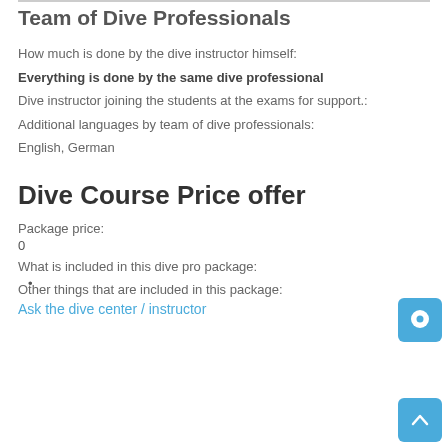Team of Dive Professionals
How much is done by the dive instructor himself:
Everything is done by the same dive professional
Dive instructor joining the students at the exams for support.:
Additional languages by team of dive professionals:
English, German
Dive Course Price offer
Package price:
0
What is included in this dive pro package:
Other things that are included in this package:
Ask the dive center / instructor